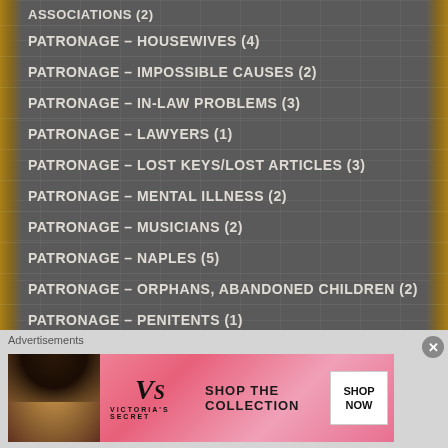ASSOCIATIONS (2)
PATRONAGE – HOUSEWIVES (4)
PATRONAGE – IMPOSSIBLE CAUSES (2)
PATRONAGE – IN-LAW PROBLEMS (3)
PATRONAGE – LAWYERS (1)
PATRONAGE – LOST KEYS/LOST ARTICLES (3)
PATRONAGE – MENTAL ILLNESS (2)
PATRONAGE – MUSICIANS (2)
PATRONAGE – NAPLES (5)
PATRONAGE – ORPHANS, ABANDONED CHILDREN (2)
PATRONAGE – PENITENTS (1)
[Figure (advertisement): Victoria's Secret advertisement with model, VS logo, 'SHOP THE COLLECTION' text, and 'SHOP NOW' button]
Advertisements